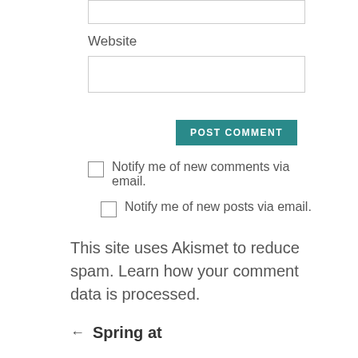[Figure (screenshot): Empty text input box at the top of the page (partial, cropped)]
Website
[Figure (screenshot): Empty website input field]
[Figure (screenshot): POST COMMENT button in teal/dark cyan color]
Notify me of new comments via email.
Notify me of new posts via email.
This site uses Akismet to reduce spam. Learn how your comment data is processed.
Spring at